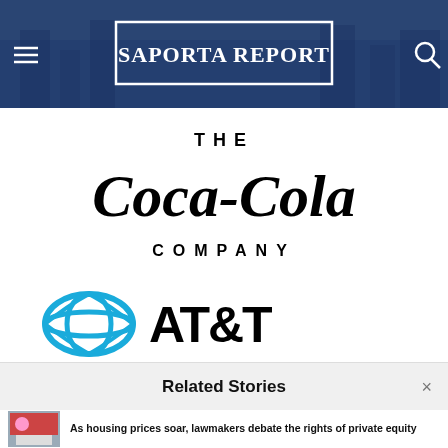[Figure (screenshot): SaportaReport website header with dark blue city background, hamburger menu icon on left, search icon on right, and SAPORTAREPORT logo in white bordered box in center]
[Figure (logo): The Coca-Cola Company logo in black text on white background]
[Figure (logo): AT&T logo with blue globe icon and AT&T wordmark in black]
Related Stories
As housing prices soar, lawmakers debate the rights of private equity